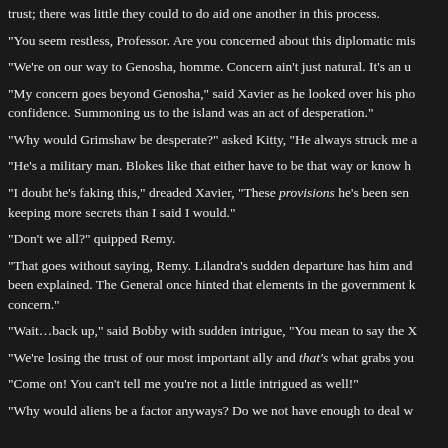trust; there was little they could to do aid one another in this process.
“You seem restless, Professor. Are you concerned about this diplomatic mis
“We’re on our way to Genosha, homme. Concern ain’t just natural. It’s an u
“My concern goes beyond Genosha,” said Xavier as he looked over his pho confidence. Summoning us to the island was an act of desperation.”
“Why would Grimshaw be desperate?” asked Kitty, “He always struck me a
“He’s a military man. Blokes like that either have to be that way or know h
“I doubt he’s faking this,” dreaded Xavier, “These provisions he’s been sen keeping more secrets than I said I would.”
“Don’t we all?” quipped Remy.
“That goes without saying, Remy. Lilandra’s sudden departure has him and been explained. The General once hinted that elements in the government k concern.”
“Wait…back up,” said Bobby with sudden intrigue, “You mean to say the X
“We’re losing the trust of our most important ally and that’s what grabs you
“Come on! You can’t tell me you’re not a little intrigued as well!”
“Why would aliens be a factor anyways? Do we not have enough to deal w